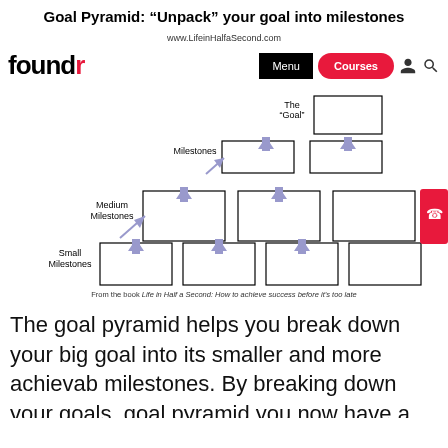Goal Pyramid: “Unpack” your goal into milestones
www.LifeinHalfaSecond.com
[Figure (flowchart): Goal Pyramid diagram showing hierarchy: top level 'The Goal' box, middle level 'Milestones' (2 boxes), second level 'Medium Milestones' (3 boxes), bottom level 'Small Milestones' (4 boxes), with purple upward arrows connecting each level. Caption reads: From the book Life in Half a Second: How to achieve success before it's too late]
The goal pyramid helps you break down your big goal into its smaller and more achievable milestones. By breaking down your goals into a goal pyramid you now have a better